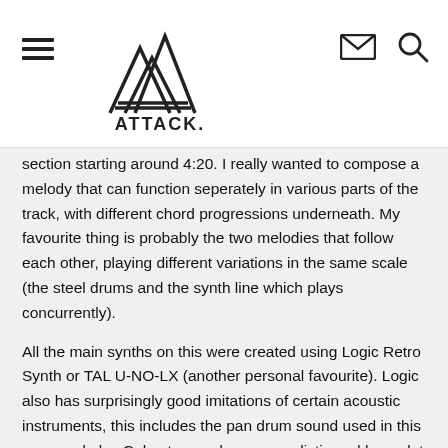ATTACK. [logo with hamburger menu, mail icon, search icon]
section starting around 4:20. I really wanted to compose a melody that can function seperately in various parts of the track, with different chord progressions underneath. My favourite thing is probably the two melodies that follow each other, playing different variations in the same scale (the steel drums and the synth line which plays concurrently).
All the main synths on this were created using Logic Retro Synth or TAL U-NO-LX (another personal favourite). Logic also has surprisingly good imitations of certain acoustic instruments, this includes the pan drum sound used in this song and also Calvert, sounds super realistic and has a lot of personality to it when you use it across various velocities, it can get pretty fierce if you “hit” it hard! Another tip here is to not disregard Apple loops that come with Logic, I had never looked there for samples before, but I